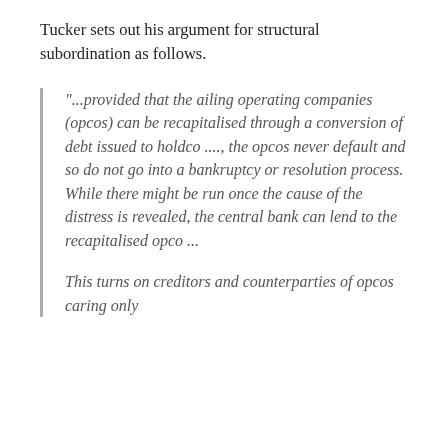Tucker sets out his argument for structural subordination as follows.
“...provided that the ailing operating companies (opcos) can be recapitalised through a conversion of debt issued to holdco ...., the opcos never default and so do not go into a bankruptcy or resolution process. While there might be run once the cause of the distress is revealed, the central bank can lend to the recapitalised opco ...
This turns on creditors and counterparties of opcos caring only